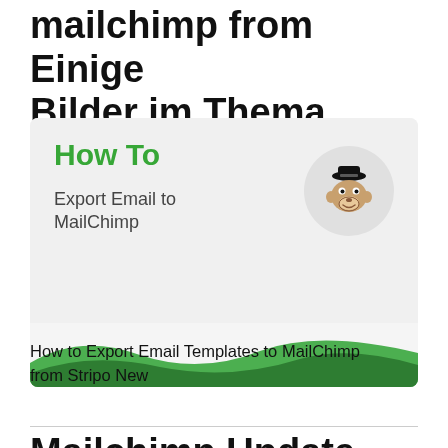mailchimp from Einige Bilder im Thema
[Figure (illustration): A 'How To' card with green bold title, 'Export Email to MailChimp' subtitle text, a MailChimp monkey mascot in a grey circle on the right, and green wave decoration at the bottom.]
How to Export Email Templates to MailChimp from Stripo New
Mailchimp Update